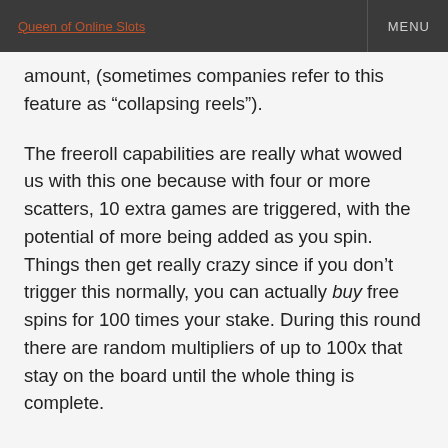Queen of Online Slots   MENU
amount, (sometimes companies refer to this feature as “collapsing reels”).
The freeroll capabilities are really what wowed us with this one because with four or more scatters, 10 extra games are triggered, with the potential of more being added as you spin. Things then get really crazy since if you don’t trigger this normally, you can actually buy free spins for 100 times your stake. During this round there are random multipliers of up to 100x that stay on the board until the whole thing is complete.